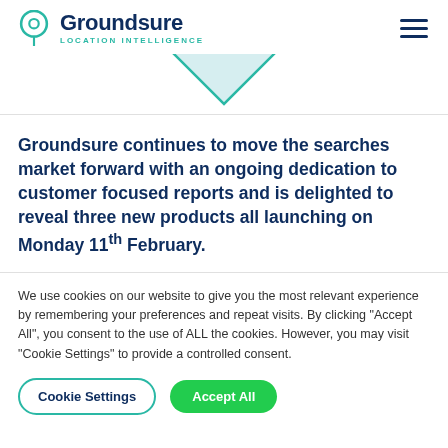[Figure (logo): Groundsure Location Intelligence logo with teal map pin icon]
[Figure (illustration): Partial teal/light blue downward-pointing triangle or funnel shape]
Groundsure continues to move the searches market forward with an ongoing dedication to customer focused reports and is delighted to reveal three new products all launching on Monday 11th February.
We use cookies on our website to give you the most relevant experience by remembering your preferences and repeat visits. By clicking "Accept All", you consent to the use of ALL the cookies. However, you may visit "Cookie Settings" to provide a controlled consent.